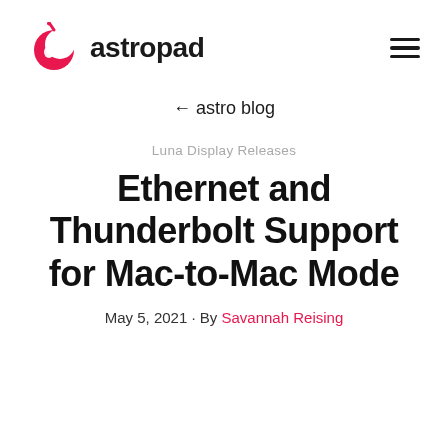[Figure (logo): Astropad logo: red crescent/planet icon with astronaut silhouette, followed by bold text 'astropad']
← astro blog
Luna Display Releases
Ethernet and Thunderbolt Support for Mac-to-Mac Mode
May 5, 2021 · By Savannah Reising